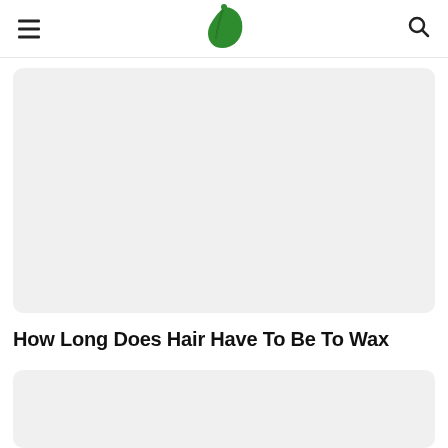Navigation header with hamburger menu, leaf logo, and search icon
[Figure (illustration): Light gray rounded rectangle placeholder image card at top of page]
How Long Does Hair Have To Be To Wax
[Figure (illustration): Light gray rounded rectangle placeholder image card below title, with a white circular scroll-to-top button with upward chevron in the top-right area]